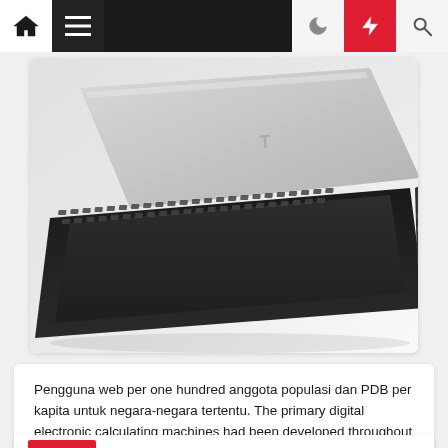Navigation bar with home, menu, moon, lightning, search icons
[Figure (photo): Partial view of a laptop computer (black and silver), angled, showing keyboard and back panel against a white/grey background]
Pengguna web per one hundred anggota populasi dan PDB per kapita untuk negara-negara tertentu. The primary digital electronic calculating machines had been developed throughout World Warfare II The first semiconductor transistors in the late 1940s had been followed by the silicon -primarily based MOSFET (MOS transistor) and monolithic integrated circuit […]
[Figure (other): Partial card visible at bottom with a red tag element]